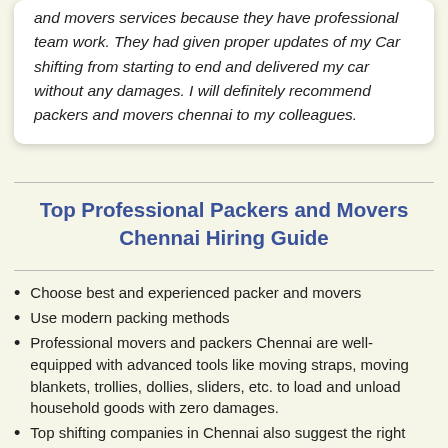and movers services because they have professional team work. They had given proper updates of my Car shifting from starting to end and delivered my car without any damages. I will definitely recommend packers and movers chennai to my colleagues.
Top Professional Packers and Movers Chennai Hiring Guide
Choose best and experienced packer and movers
Use modern packing methods
Professional movers and packers Chennai are well-equipped with advanced tools like moving straps, moving blankets, trollies, dollies, sliders, etc. to load and unload household goods with zero damages.
Top shifting companies in Chennai also suggest the right truck for house shifting transport, and whether